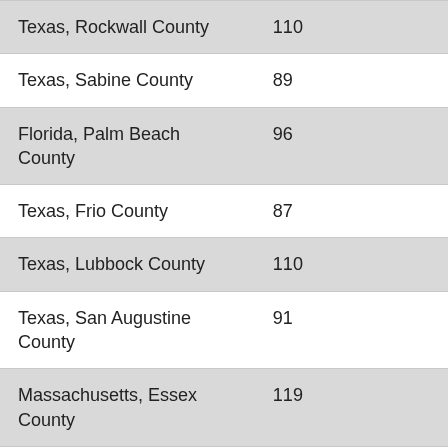| Texas, Rockwall County | 110 |
| Texas, Sabine County | 89 |
| Florida, Palm Beach County | 96 |
| Texas, Frio County | 87 |
| Texas, Lubbock County | 110 |
| Texas, San Augustine County | 91 |
| Massachusetts, Essex County | 119 |
| Florida, Brevard County | 85 |
| Pennsylvania, Philadelphia County | 85 |